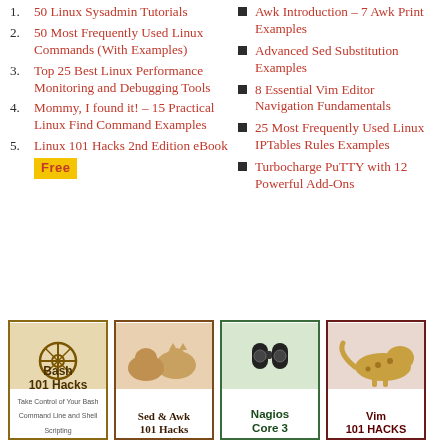50 Linux Sysadmin Tutorials
50 Most Frequently Used Linux Commands (With Examples)
Top 25 Best Linux Performance Monitoring and Debugging Tools
Mommy, I found it! – 15 Practical Linux Find Command Examples
Linux 101 Hacks 2nd Edition eBook [Free]
Awk Introduction – 7 Awk Print Examples
Advanced Sed Substitution Examples
8 Essential Vim Editor Navigation Fundamentals
25 Most Frequently Used Linux IPTables Rules Examples
Turbocharge PuTTY with 12 Powerful Add-Ons
[Figure (illustration): Book cover: Bash 101 Hacks]
[Figure (illustration): Book cover: Sed & Awk 101 Hacks]
[Figure (illustration): Book cover: Nagios Core 3]
[Figure (illustration): Book cover: Vim 101 HACKS]